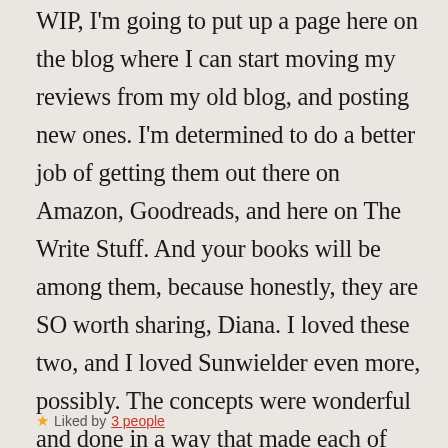WIP, I'm going to put up a page here on the blog where I can start moving my reviews from my old blog, and posting new ones. I'm determined to do a better job of getting them out there on Amazon, Goodreads, and here on The Write Stuff. And your books will be among them, because honestly, they are SO worth sharing, Diana. I loved these two, and I loved Sunwielder even more, possibly. The concepts were wonderful and done in a way that made each of them absolutely believable. Write on, brilliant lady! We want more! 🙂 ❤
★ Liked by 3 people